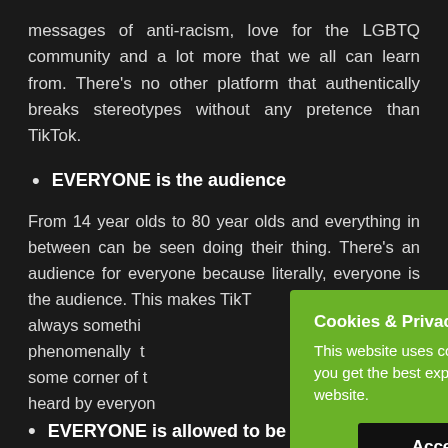messages of anti-racism, love for the LGBTQ community and a lot more that we all can learn from. There's no other platform that authentically breaks stereotypes without any pretence than TikTok.
EVERYONE is the audience
From 14 year olds to 80 year olds and everything in between can be seen doing their thing. There's an audience for everyone because literally, everyone is the audience. This makes TikTok always something phenomenally t some corner of t heard by everyon
[Figure (screenshot): Green cookie consent popup overlay with title 'Cookies & Privacy', body text 'This website uses cookies to ensure you get the best experience on our website.' and a black 'Accept' button.]
EVERYONE is allowed to be who they are?